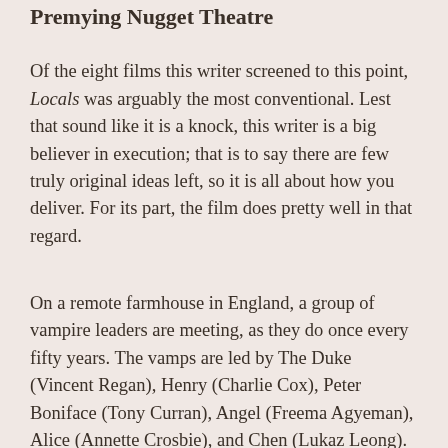Premying Nugget Theatre
Of the eight films this writer screened to this point, Locals was arguably the most conventional. Lest that sound like it is a knock, this writer is a big believer in execution; that is to say there are few truly original ideas left, so it is all about how you deliver. For its part, the film does pretty well in that regard.
On a remote farmhouse in England, a group of vampire leaders are meeting, as they do once every fifty years. The vamps are led by The Duke (Vincent Regan), Henry (Charlie Cox), Peter Boniface (Tony Curran), Angel (Freema Agyeman), Alice (Annette Crosbie), and Chen (Lukaz Leong). After dispatching Thomas (Jordan Long) one of